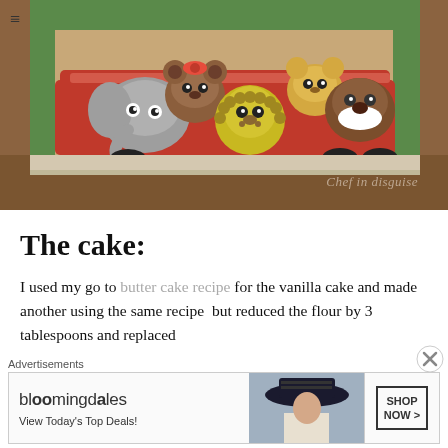[Figure (photo): A fondant/marzipan cake decorated with animal figurines (elephant, bears, lion cub) sitting on a red sofa/couch. Watermark reads 'Chef in disguise' in italic script at the bottom right.]
The cake:
I used my go to butter cake recipe for the vanilla cake and made another using the same recipe  but reduced the flour by 3 tablespoons and replaced
Advertisements
[Figure (other): Bloomingdale's advertisement banner: 'bloomingdales / View Today's Top Deals!' with a woman in a hat image and 'SHOP NOW >' button]